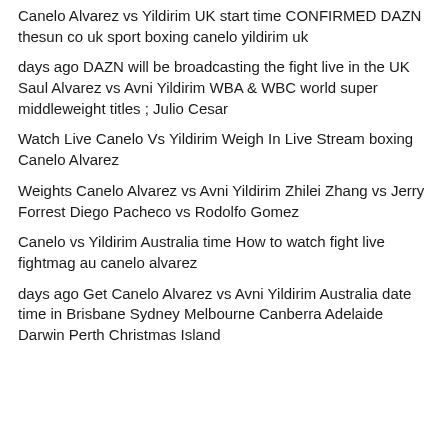Canelo Alvarez vs Yildirim UK start time CONFIRMED DAZN thesun co uk sport boxing canelo yildirim uk
days ago DAZN will be broadcasting the fight live in the UK Saul Alvarez vs Avni Yildirim WBA & WBC world super middleweight titles ; Julio Cesar
Watch Live Canelo Vs Yildirim Weigh In Live Stream boxing Canelo Alvarez
Weights Canelo Alvarez vs Avni Yildirim Zhilei Zhang vs Jerry Forrest Diego Pacheco vs Rodolfo Gomez
Canelo vs Yildirim Australia time How to watch fight live fightmag au canelo alvarez
days ago Get Canelo Alvarez vs Avni Yildirim Australia date time in Brisbane Sydney Melbourne Canberra Adelaide Darwin Perth Christmas Island